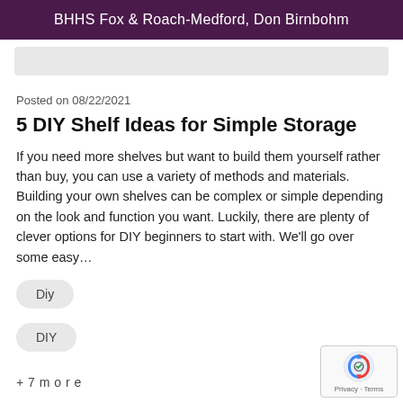BHHS Fox & Roach-Medford, Don Birnbohm
Posted on 08/22/2021
5 DIY Shelf Ideas for Simple Storage
If you need more shelves but want to build them yourself rather than buy, you can use a variety of methods and materials. Building your own shelves can be complex or simple depending on the look and function you want. Luckily, there are plenty of clever options for DIY beginners to start with. We’ll go over some easy…
Diy
DIY
+ 7 more